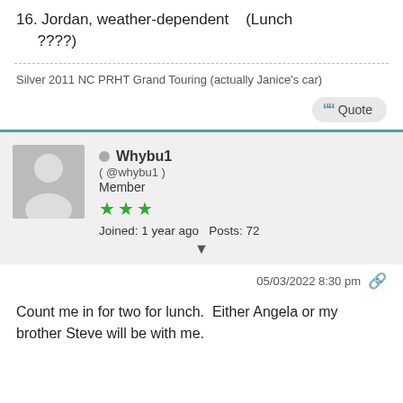16. Jordan, weather-dependent   (Lunch ????)
Silver 2011 NC PRHT Grand Touring (actually Janice's car)
Quote
Whybu1 (@whybu1) Member  Joined: 1 year ago  Posts: 72
05/03/2022 8:30 pm
Count me in for two for lunch.  Either Angela or my brother Steve will be with me.